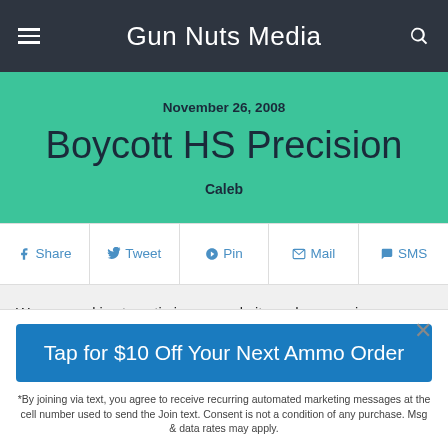Gun Nuts Media
November 26, 2008
Boycott HS Precision
Caleb
Share  Tweet  Pin  Mail  SMS
We use cookies to optimize our website and our service.
Tap for $10 Off Your Next Ammo Order
*By joining via text, you agree to receive recurring automated marketing messages at the cell number used to send the Join text. Consent is not a condition of any purchase. Msg & data rates may apply.